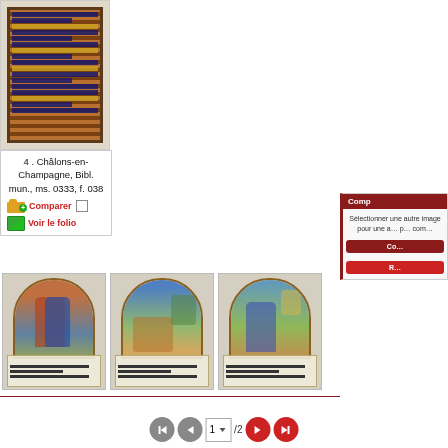[Figure (photo): Medieval illuminated manuscript page thumbnail showing decorated text with blue and gold borders and floral motifs]
4 . Châlons-en-Champagne, Bibl. mun., ms. 0333, f. 038
Comparer
Voir le folio
[Figure (photo): Medieval illuminated manuscript thumbnail with arched miniature showing red-robed figure, decorated border]
[Figure (photo): Medieval illuminated manuscript thumbnail with arched miniature showing pastoral scene with figures, decorated border]
[Figure (photo): Medieval illuminated manuscript thumbnail with arched miniature showing figure in blue robe, decorated border]
Comparer
Sélectionner une autre image pour une autre page pour comparer
Co...
R...